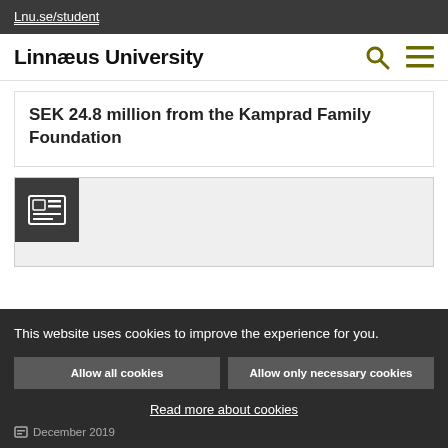Lnu.se/student
Linnæus University
SEK 24.8 million from the Kamprad Family Foundation
[Figure (screenshot): News article card with a newspaper/article icon (dark grey square with grid icon) on a light grey background]
This website uses cookies to improve the experience for you.
Allow all cookies
Allow only necessary cookies
Read more about cookies
December 2019